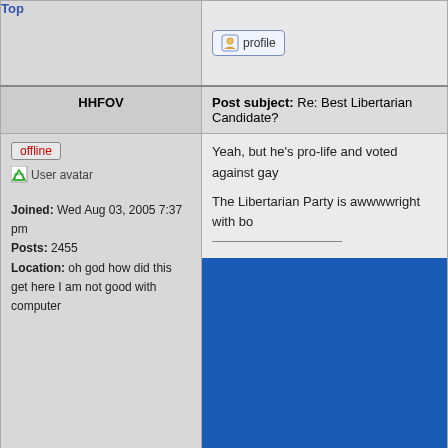Top
[Figure (screenshot): Profile button with user icon]
HHFOV
Post subject: Re: Best Libertarian Candidate?
[Figure (illustration): offline button and User avatar placeholder]
Joined: Wed Aug 03, 2005 7:37 pm
Posts: 2455
Location: oh god how did this get here I am not good with computer
Yeah, but he's pro-life and voted against gay
The Libertarian Party is awwwwright with bo
[Figure (other): Large blue block image/embed]